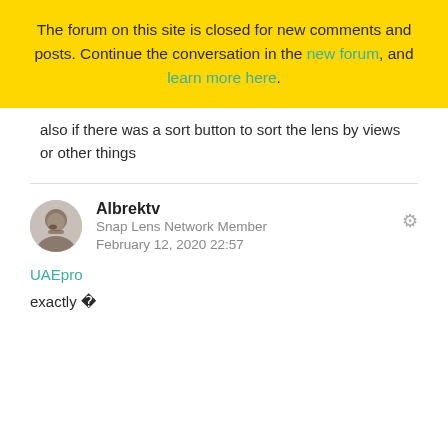The forum on this site is closed for new comments and posts. Continue the conversation in the new forum, and learn more here.
also if there was a sort button to sort the lens by views or other things
Albrektv
Snap Lens Network Member
February 12, 2020 22:57
UAEpro
exactly 🎉